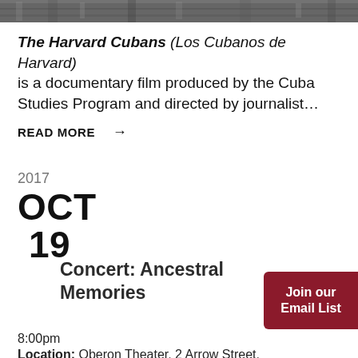[Figure (photo): Black and white crowd photograph at top of page]
The Harvard Cubans (Los Cubanos de Harvard) is a documentary film produced by the Cuba Studies Program and directed by journalist…
READ MORE →
2017 OCT 19
Concert: Ancestral Memories
Join our Email List
8:00pm
Location: Oberon Theater, 2 Arrow Street,